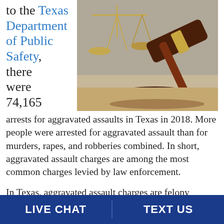to the Texas Department of Public Safety, there were 74,165 arrests for aggravated assaults in Texas in 2018. More people were arrested for aggravated assault than for murders, rapes, and robberies combined. In short, aggravated assault charges are among the most common charges levied by law enforcement.
[Figure (photo): Photo of a judge's gavel and scales of justice on a wooden surface]
In Texas, aggravated assault charges are felony charges. The degree depends on several factors
LIVE CHAT | TEXT US